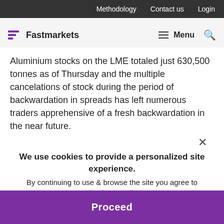Methodology  Contact us  Login
[Figure (logo): Fastmarkets logo with purple bar icon and navigation menu]
Aluminium stocks on the LME totaled just 630,500 tonnes as of Thursday and the multiple cancelations of stock during the period of backwardation in spreads has left numerous traders apprehensive of a fresh backwardation in the near future.
"That's why people are concerned. There hasn't been a certain amount of tonnage available. We will have periods... Europe said...
We use cookies to provide a personalized site experience.
By continuing to use & browse the site you agree to our Privacy Policy.
Proceed